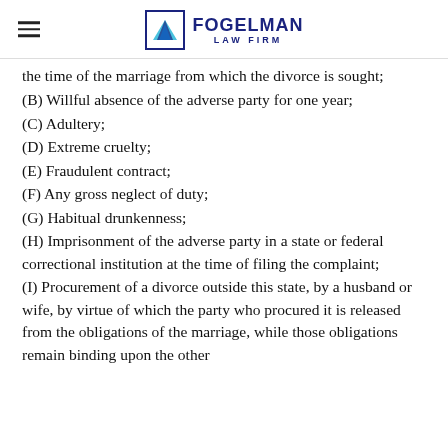Fogelman Law Firm
the time of the marriage from which the divorce is sought;
(B) Willful absence of the adverse party for one year;
(C) Adultery;
(D) Extreme cruelty;
(E) Fraudulent contract;
(F) Any gross neglect of duty;
(G) Habitual drunkenness;
(H) Imprisonment of the adverse party in a state or federal correctional institution at the time of filing the complaint;
(I) Procurement of a divorce outside this state, by a husband or wife, by virtue of which the party who procured it is released from the obligations of the marriage, while those obligations remain binding upon the other